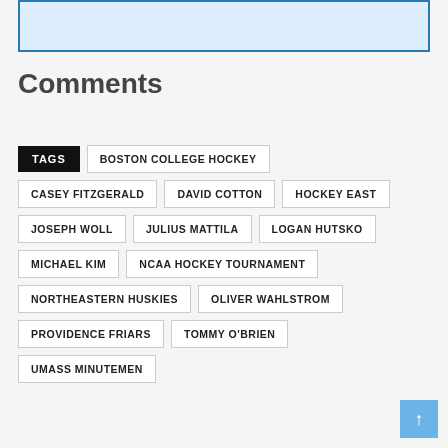[Figure (other): Light blue rectangle with blue border at top of page]
Comments
TAGS | BOSTON COLLEGE HOCKEY
CASEY FITZGERALD | DAVID COTTON | HOCKEY EAST
JOSEPH WOLL | JULIUS MATTILA | LOGAN HUTSKO
MICHAEL KIM | NCAA HOCKEY TOURNAMENT
NORTHEASTERN HUSKIES | OLIVER WAHLSTROM
PROVIDENCE FRIARS | TOMMY O'BRIEN
UMASS MINUTEMEN